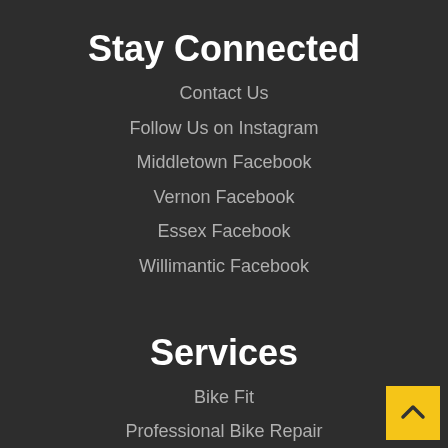Stay Connected
Contact Us
Follow Us on Instagram
Middletown Facebook
Vernon Facebook
Essex Facebook
Willimantic Facebook
Services
Bike Fit
Professional Bike Repair
Professional Suspension Service
Pick Up and Delivery
Financing with Klarna